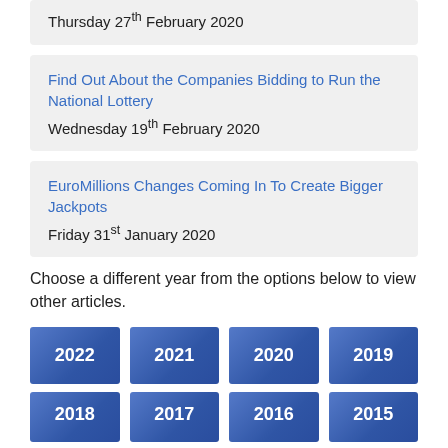Thursday 27th February 2020
Find Out About the Companies Bidding to Run the National Lottery
Wednesday 19th February 2020
EuroMillions Changes Coming In To Create Bigger Jackpots
Friday 31st January 2020
Choose a different year from the options below to view other articles.
[Figure (other): Year selection buttons: 2022, 2021, 2020, 2019 (full row), and partial second row with 2018, 2017, 2016, 2015]